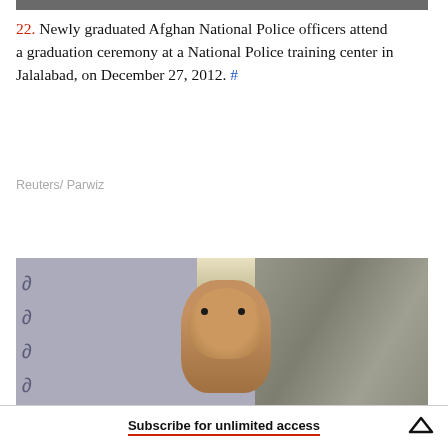[Figure (photo): Top portion of a photo showing graduated Afghan National Police officers at a ceremony — cropped, only bottom strip visible]
22. Newly graduated Afghan National Police officers attend a graduation ceremony at a National Police training center in Jalalabad, on December 27, 2012. #
Reuters/ Parwiz
[Figure (photo): A child peeks through a draped fabric or curtain against a rough cracked wall surface]
Subscribe for unlimited access